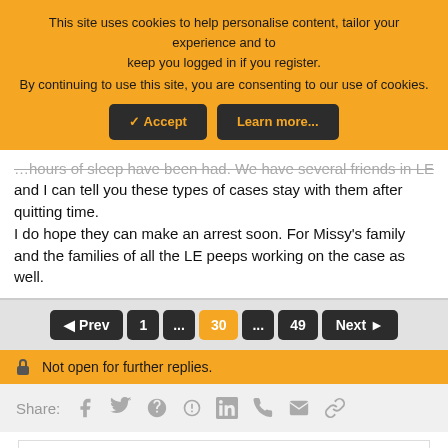This site uses cookies to help personalise content, tailor your experience and to keep you logged in if you register. By continuing to use this site, you are consenting to our use of cookies.
✓ Accept  Learn more...
…hours of sleep have been had. We have several friends in LE and I can tell you these types of cases stay with them after quitting time.
I do hope they can make an arrest soon. For Missy's family and the families of all the LE peeps working on the case as well.
◄ Prev  1  ...  30  ...  49  Next ►
Not open for further replies.
Share:
[Figure (infographic): Ad for Firestone Tires: Get Up To $110 Off a Set of 4 Select Firestone Tires, with Firestone Auto Care logo and navigation arrow icon]